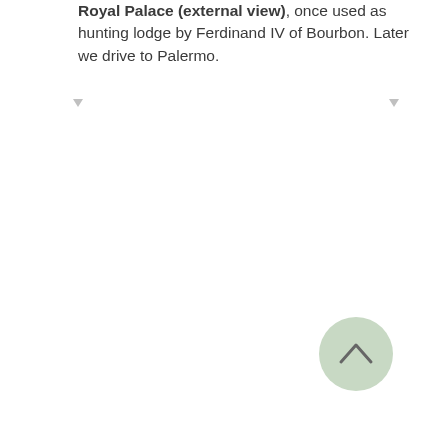Royal Palace (external view), once used as hunting lodge by Ferdinand IV of Bourbon. Later we drive to Palermo.
[Figure (other): A circular back-to-top button with a light sage/green background and an upward-pointing chevron arrow icon]